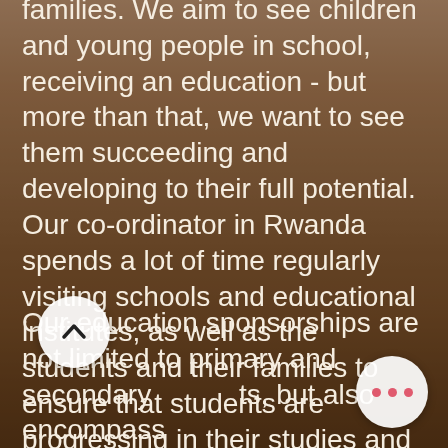families. We aim to see children and young people in school, receiving an education - but more than that, we want to see them succeeding and developing to their full potential. Our co-ordinator in Rwanda spends a lot of time regularly visiting schools and educational institutes, as well as the students and their families to ensure that students are progressing in their studies and are well-supported.
Our education sponsorships are not limited to primary and secondary students, but also encompass individuals who have completed school and are moving on to further study at university or vocational training. Even for those students who make it right through high-school, a tertiary-level